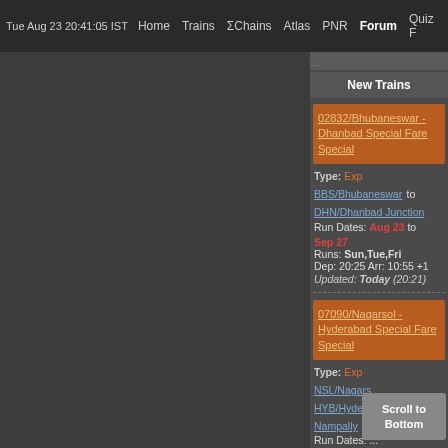Tue Aug 23 20:41:05 IST  Home  Trains  ΣChains  Atlas  PNR  Forum  Quiz F
New Trains
02832/Bhubaneswar - Dhanbad Special Fare Special
Type: Exp
BBS/Bhubaneswar to DHN/Dhanbad Junction
Run Dates: Aug 23 to Sep 27
Runs: Sun,Tue,Fri
Dep: 20:25  Arr: 10:55 +1
Updated: Today (20:21)
07090/Nagarsol - Hyderabad Special Fare Special
Type: Exp
NSL/Nagars...
HYB/Hydera...
Nampally
Run Dates: ...